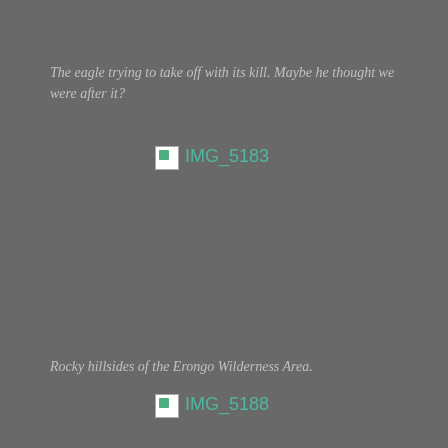The eagle trying to take off with its kill. Maybe he thought we were after it?
[Figure (photo): Broken image placeholder labeled IMG_5183]
Rocky hillsides of the Erongo Wilderness Area.
[Figure (photo): Broken image placeholder labeled IMG_5188]